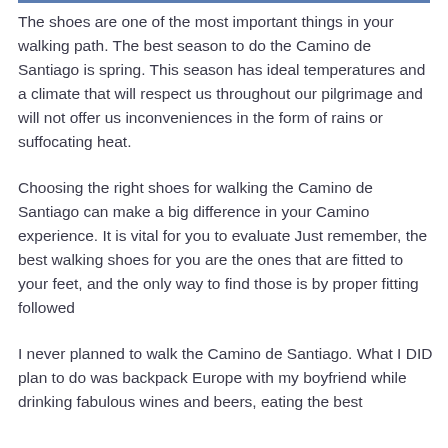The shoes are one of the most important things in your walking path. The best season to do the Camino de Santiago is spring. This season has ideal temperatures and a climate that will respect us throughout our pilgrimage and will not offer us inconveniences in the form of rains or suffocating heat.
Choosing the right shoes for walking the Camino de Santiago can make a big difference in your Camino experience. It is vital for you to evaluate Just remember, the best walking shoes for you are the ones that are fitted to your feet, and the only way to find those is by proper fitting followed
I never planned to walk the Camino de Santiago. What I DID plan to do was backpack Europe with my boyfriend while drinking fabulous wines and beers, eating the best